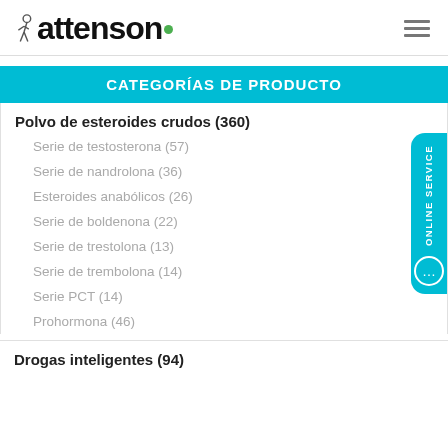Lattenson
CATEGORÍAS DE PRODUCTO
Polvo de esteroides crudos (360)
Serie de testosterona (57)
Serie de nandrolona (36)
Esteroides anabólicos (26)
Serie de boldenona (22)
Serie de trestolona (13)
Serie de trembolona (14)
Serie PCT (14)
Prohormona (46)
Drogas inteligentes (94)